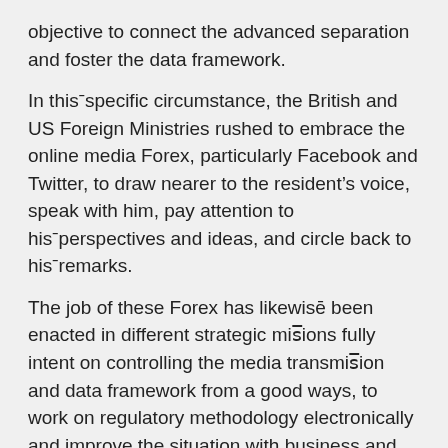objective to connect the advanced separation and foster the data framework.
In this¯specific circumstance, the British and US Foreign Ministries rushed to embrace the online media Forex, particularly Facebook and Twitter, to draw nearer to the resident’s voice, speak with him, pay attention to his¯perspectives and ideas, and circle back to his¯remarks.
The job of these Forex has likewisē been enacted in different strategic mis̅ions fully intent on controlling the media transmis̅ion and data framework from a good ways, to work on regulatory methodology electronically and improve the situation with business and monetary relations among the nations of the world. The Forex addresses present day data and correspondence, a gift and a revile simultaneously, because of the advantages and gains it abandons, or